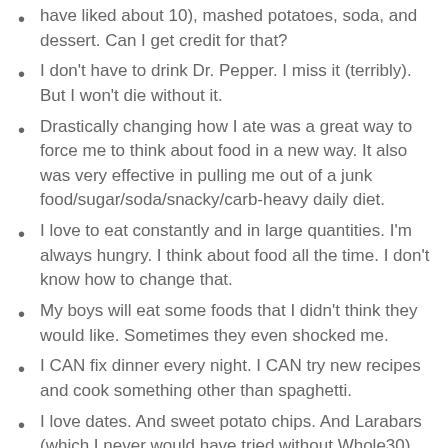have liked about 10), mashed potatoes, soda, and dessert. Can I get credit for that?
I don't have to drink Dr. Pepper. I miss it (terribly). But I won't die without it.
Drastically changing how I ate was a great way to force me to think about food in a new way. It also was very effective in pulling me out of a junk food/sugar/soda/snacky/carb-heavy daily diet.
I love to eat constantly and in large quantities. I'm always hungry. I think about food all the time. I don't know how to change that.
My boys will eat some foods that I didn't think they would like. Sometimes they even shocked me.
I CAN fix dinner every night. I CAN try new recipes and cook something other than spaghetti.
I love dates. And sweet potato chips. And Larabars (which I never would have tried without Whole30).